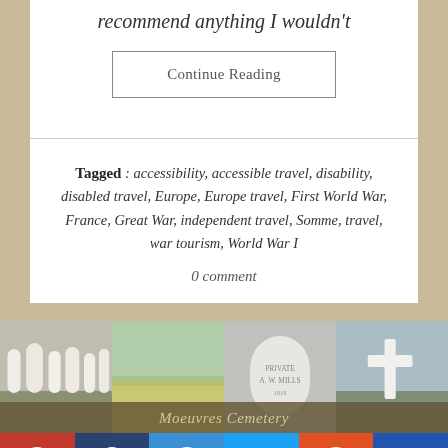recommend anything I wouldn't
Continue Reading
Tagged : accessibility, accessible travel, disability, disabled travel, Europe, Europe travel, First World War, France, Great War, independent travel, Somme, travel, war tourism, World War I
0 comment
[Figure (photo): Four panel image strip showing WWI cemetery headstones, a field, a close-up gravestone, and a white cross. Overlay banner reads 'Moeuvres Cemetery']
Social sharing bar with Pinterest, Facebook, Messenger, Twitter, Reddit, and Crown icons